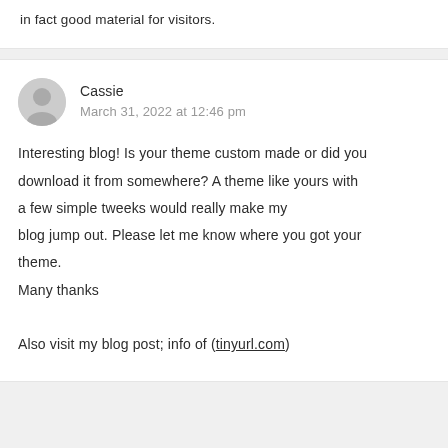in fact good material for visitors.
Cassie
March 31, 2022 at 12:46 pm

Interesting blog! Is your theme custom made or did you download it from somewhere? A theme like yours with a few simple tweeks would really make my blog jump out. Please let me know where you got your theme.
Many thanks

Also visit my blog post; info of (tinyurl.com)